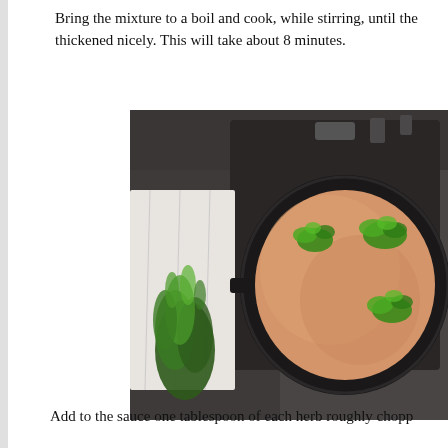Bring the mixture to a boil and cook, while stirring, until the thickened nicely. This will take about 8 minutes.
[Figure (photo): Overhead view of a dark skillet on a stovetop containing a creamy orange/beige soup garnished with three clusters of fresh chopped green herbs. To the left of the pan is a white cloth napkin and a bundle of fresh green herbs on a dark granite countertop.]
Add to the sauce one tablespoon of each herb roughly chopp